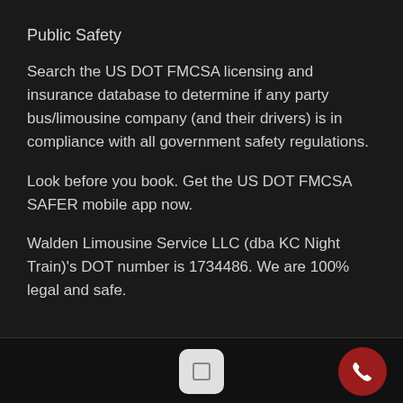Public Safety
Search the US DOT FMCSA licensing and insurance database to determine if any party bus/limousine company (and their drivers) is in compliance with all government safety regulations.
Look before you book. Get the US DOT FMCSA SAFER mobile app now.
Walden Limousine Service LLC (dba KC Night Train)'s DOT number is 1734486. We are 100% legal and safe.
[Figure (screenshot): Mobile app navigation bar with home button and red phone/call button]